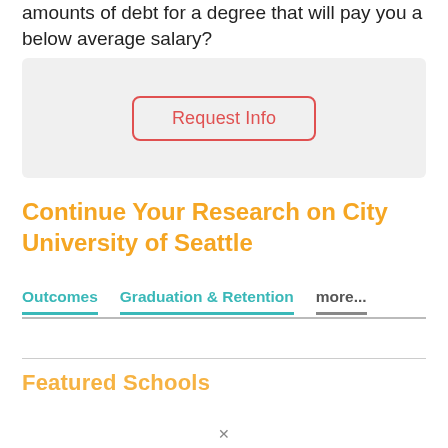amounts of debt for a degree that will pay you a below average salary?
[Figure (other): A button widget with red border labeled 'Request Info' on a light gray background box]
Continue Your Research on City University of Seattle
Outcomes   Graduation & Retention   more...
Featured Schools